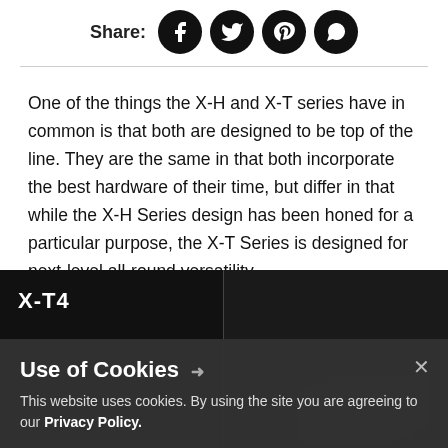Share:
[Figure (infographic): Social share icons: Facebook, Twitter, Pinterest, WhatsApp — black circular buttons]
One of the things the X-H and X-T series have in common is that both are designed to be top of the line. They are the same in that both incorporate the best hardware of their time, but differ in that while the X-H Series design has been honed for a particular purpose, the X-T Series is designed for next-level all-round versatility.
[Figure (photo): Dark background image section with X-T4 logo on the left panel and a dark camera product image on the right panel]
Use of Cookies
This website uses cookies. By using the site you are agreeing to our Privacy Policy.